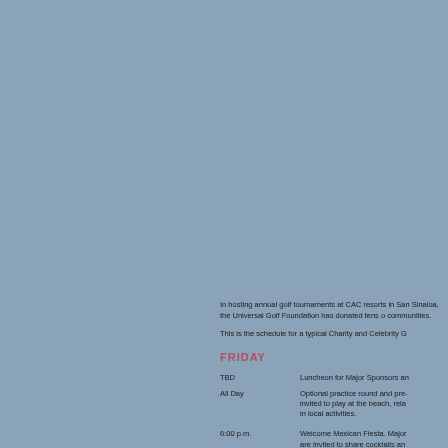In hosting annual golf tournaments at CAC resorts in Sinaloa, the Universal Golf Foundation has donated tens of thousands of dollars to local communities.
This is the schedule for a typical Charity and Celebrity Golf Tournament:
FRIDAY
| Time | Event |
| --- | --- |
| TBD | Luncheon for Major Sponsors an... |
| All Day | Optional practice round and pre-... invited to play at the beach, relax... in local activities. |
| 6:00 p.m. | Welcome Mexican Fiesta. Major... are invited to share cocktails an... |